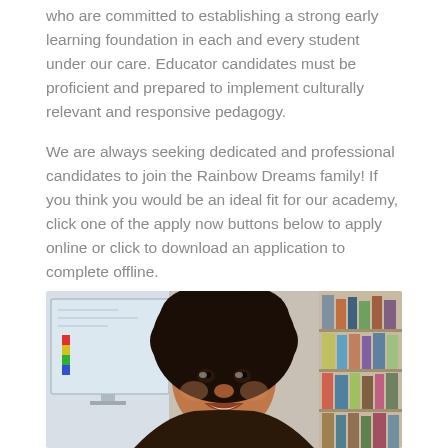who are committed to establishing a strong early learning foundation in each and every student under our care. Educator candidates must be proficient and prepared to implement culturally relevant and responsive pedagogy.

We are always seeking dedicated and professional candidates to join the Rainbow Dreams family! If you think you would be an ideal fit for our academy, click one of the apply now buttons below to apply online or click to download an application to complete offline.
[Figure (photo): A smiling Black woman with natural curly hair in a classroom setting, with a whiteboard/screen visible in the background on the left and bookshelves on the right.]